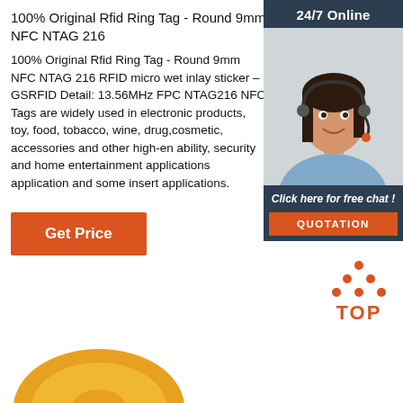100% Original Rfid Ring Tag - Round 9mm NFC NTAG 216
100% Original Rfid Ring Tag - Round 9mm NFC NTAG 216 RFID micro wet inlay sticker – GSRFID Detail: 13.56MHz FPC NTAG216 NFC Tags are widely used in electronic products, toy, food, tobacco, wine, drug,cosmetic, accessories and other high-en ability, security and home entertainment applications application and some insert applications.
[Figure (other): Get Price orange button]
[Figure (other): 24/7 Online chat widget with woman customer service representative photo, 'Click here for free chat!' text, and orange QUOTATION button]
[Figure (other): TOP navigation button with orange dots above orange TOP text]
[Figure (other): Product image partially visible at bottom left - appears to be an NFC ring tag product]